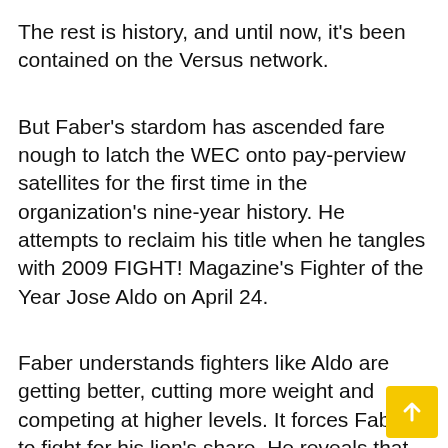The rest is history, and until now, it's been contained on the Versus network.
But Faber's stardom has ascended fare nough to latch the WEC onto pay-perview satellites for the first time in the organization's nine-year history. He attempts to reclaim his title when he tangles with 2009 FIGHT! Magazine's Fighter of the Year Jose Aldo on April 24.
Faber understands fighters like Aldo are getting better, cutting more weight and competing at higher levels. It forces Faber to fight for his lion's share. He reveals that his